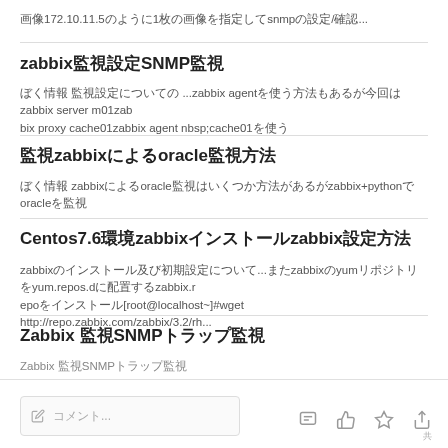画像172.10.11.5のように1枚の画像を指定してsnmpの設定/確認...
zabbix監視設定SNMP監視
ぼく情報 監視設定についての ...zabbix agentを使う方法もあるが今回はzabbix server m01zabbix proxy cache01zabbix agent nbsp;cache01を使う
監視zabbixによるoracle監視方法
ぼく情報 zabbixによるoracle監視はいくつか方法があるがzabbix+pythonでoracleを監視
Centos7.6環境zabbixインストールzabbix設定方法
zabbixのインストール及び初期設定について...またzabbixのyumリポジトリをyum.repos.d配下に配置するzabbix.repoをインストール[root@localhost~]#wget http://repo.zabbix.com/zabbix/3.2/rh...
Zabbix 監視SNMPトラップ監視